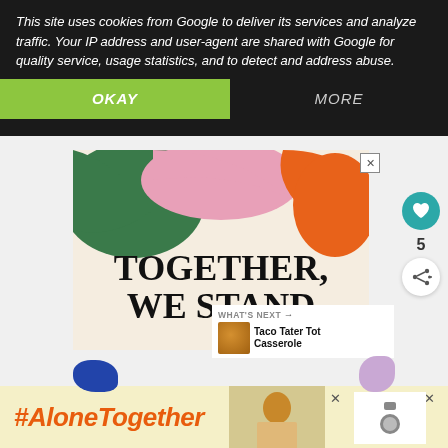This site uses cookies from Google to deliver its services and analyze traffic. Your IP address and user-agent are shared with Google for quality service, usage statistics, and to detect and address abuse.
OKAY
MORE
[Figure (screenshot): Advertisement banner showing colorful blobs (green, pink, orange) with bold serif text 'TOGETHER, WE STAND' on a cream background, with a close (X) button]
WHAT'S NEXT → Taco Tater Tot Casserole
[Figure (screenshot): Bottom advertisement bar with orange hashtag text '#AloneTogether' on yellow background, a photo of a woman cooking, and close buttons]